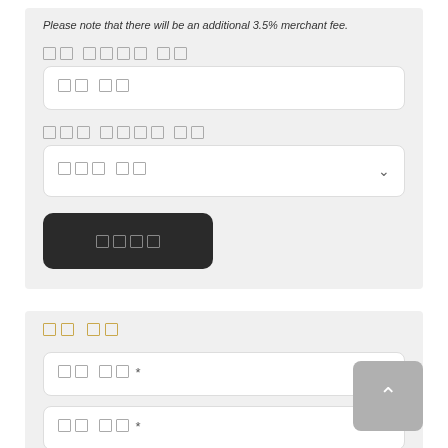Please note that there will be an additional 3.5% merchant fee.
카드 번호를 입력
[Figure (screenshot): Text input field with placeholder showing Korean characters]
카드사를 선택하세요 입력
[Figure (screenshot): Dropdown select field with placeholder showing Korean characters and chevron icon]
[Figure (screenshot): Dark submit button with Korean characters]
결제 정보
[Figure (screenshot): Text input field with Korean placeholder ending in asterisk]
[Figure (screenshot): Text input field with Korean placeholder ending in asterisk]